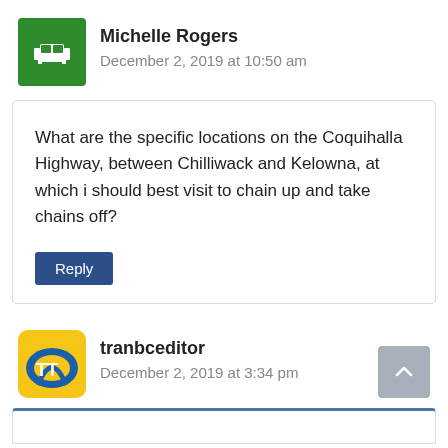Michelle Rogers
December 2, 2019 at 10:50 am
What are the specific locations on the Coquihalla Highway, between Chilliwack and Kelowna, at which i should best visit to chain up and take chains off?
tranbceditor
December 2, 2019 at 3:34 pm